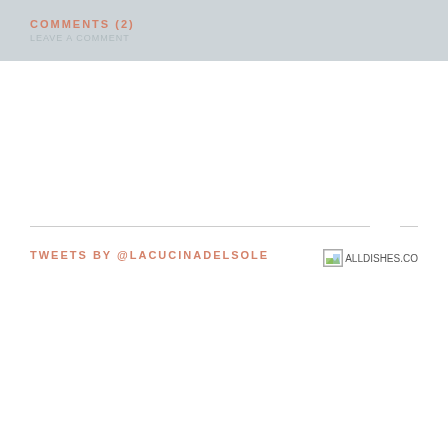COMMENTS (2)
TWEETS BY @LACUCINADELSOLE
[Figure (photo): Broken image placeholder labeled ALLDISHES.CO]